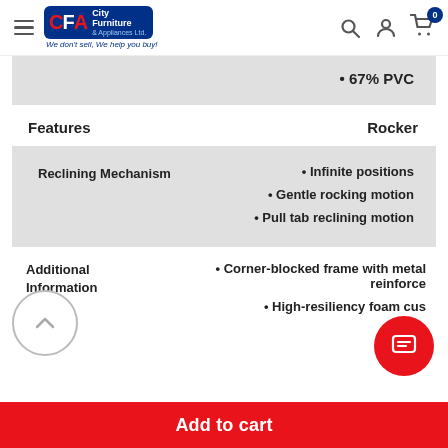City Furniture & Appliances Ltd. — We don't sell, We help you buy!
• 67% PVC
Features   Rocker
Reclining Mechanism   • Infinite positions   • Gentle rocking motion   • Pull tab reclining motion
Additional Information   • Corner-blocked frame with metal reinforce   • High-resiliency foam cus
Add to cart